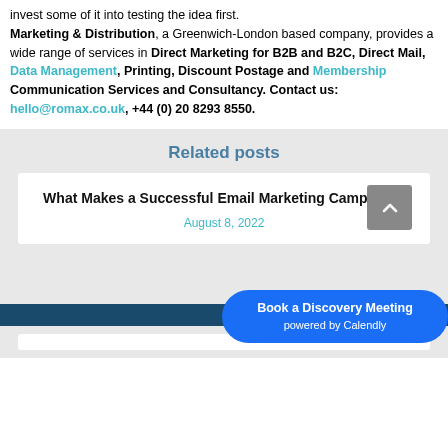invest some of it into testing the idea first. Marketing & Distribution, a Greenwich-London based company, provides a wide range of services in Direct Marketing for B2B and B2C, Direct Mail, Data Management, Printing, Discount Postage and Membership Communication Services and Consultancy. Contact us: hello@romax.co.uk, +44 (0) 20 8293 8550.
Related posts
What Makes a Successful Email Marketing Campaign?
August 8, 2022